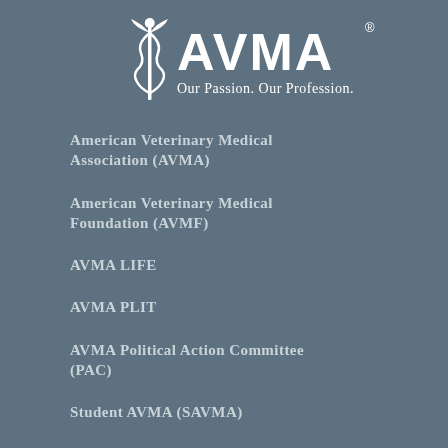[Figure (logo): AVMA logo with caduceus symbol and tagline 'Our Passion. Our Profession.']
American Veterinary Medical Association (AVMA)
American Veterinary Medical Foundation (AVMF)
AVMA LIFE
AVMA PLIT
AVMA Political Action Committee (PAC)
Student AVMA (SAVMA)
Contact us
Work at AVMA
Privacy policy